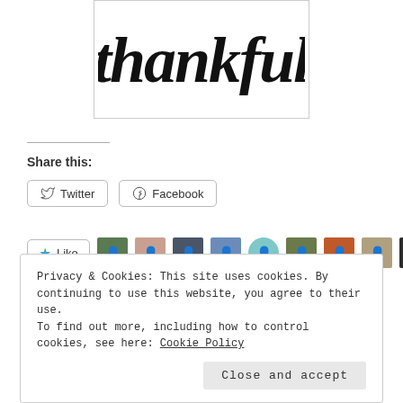[Figure (illustration): Handwritten-style script lettering reading 'thankful' in black brush calligraphy inside a bordered white box]
Share this:
[Figure (other): Twitter share button with bird icon and text 'Twitter']
[Figure (other): Facebook share button with 'f' icon and text 'Facebook']
[Figure (other): Like button with star icon and 'Like' text, followed by a row of 10 blogger avatar thumbnails]
21 bloggers like this.
Privacy & Cookies: This site uses cookies. By continuing to use this website, you agree to their use.
To find out more, including how to control cookies, see here: Cookie Policy
Close and accept